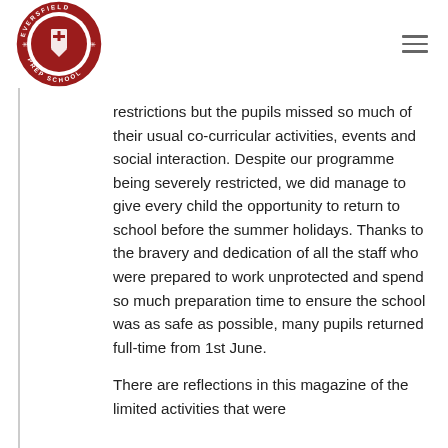[Figure (logo): Eversfield Prep School circular crest logo in red and white]
restrictions but the pupils missed so much of their usual co-curricular activities, events and social interaction. Despite our programme being severely restricted, we did manage to give every child the opportunity to return to school before the summer holidays. Thanks to the bravery and dedication of all the staff who were prepared to work unprotected and spend so much preparation time to ensure the school was as safe as possible, many pupils returned full-time from 1st June.
There are reflections in this magazine of the limited activities that were